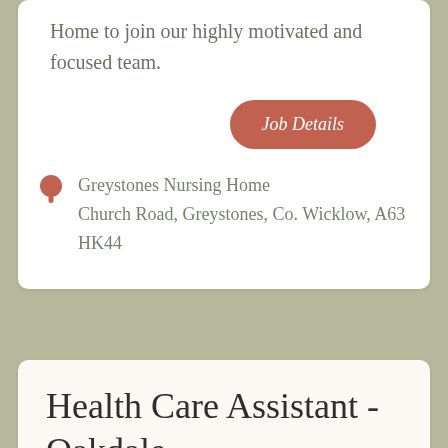Home to join our highly motivated and focused team.
Job Details
Greystones Nursing Home
Church Road, Greystones, Co. Wicklow, A63 HK44
Health Care Assistant - Oakdale